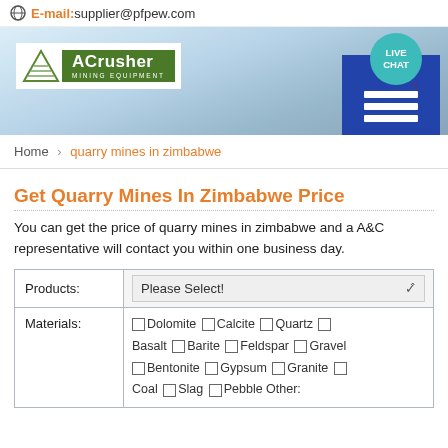E-mail:supplier@pfpew.com
[Figure (logo): ACrusher Mining Equipment logo with green triangle and text on green background, with Live Chat button]
Home > quarry mines in zimbabwe
Get Quarry Mines In Zimbabwe Price
You can get the price of quarry mines in zimbabwe and a A&C representative will contact you within one business day.
| Products: | Please Select! |
| Materials: | □ Dolomite □ Calcite □ Quartz □ Basalt □ Barite □ Feldspar □ Gravel □ Bentonite □ Gypsum □ Granite □ Coal □ Slag □ Pebble Other: |